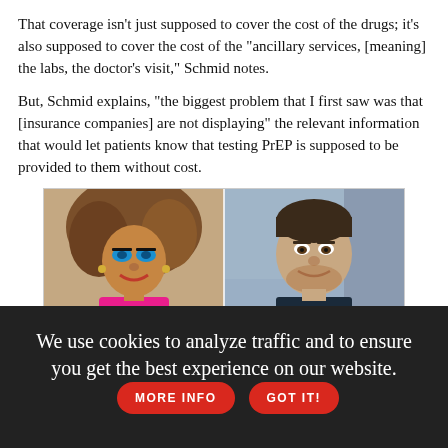That coverage isn't just supposed to cover the cost of the drugs; it's also supposed to cover the cost of the "ancillary services, [meaning] the labs, the doctor's visit," Schmid notes.
But, Schmid explains, "the biggest problem that I first saw was that [insurance companies] are not displaying" the relevant information that would let patients know that testing PrEP is supposed to be provided to them without cost.
[Figure (photo): Advertisement image showing two people side by side: on the left, a person in drag with large curly hair, blue eye makeup, and a pink outfit; on the right, a man in a dark shirt smiling. Below is a dark curved banner with the LGBTQ Nation 'Authentic Voices of Pride: LGBTQ Small Town Life' podcast logo and colorful bar graph icon.]
We use cookies to analyze traffic and to ensure you get the best experience on our website.